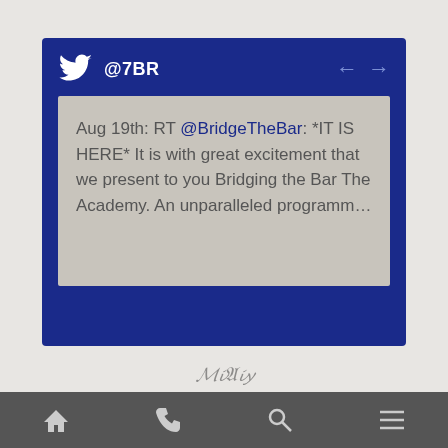[Figure (screenshot): A Twitter/social media widget card with dark navy blue background showing @7BR account handle with Twitter bird logo, navigation arrows, and a tweet content area with grey background. The tweet reads: 'Aug 19th: RT @BridgeTheBar: *IT IS HERE* It is with great excitement that we present to you Bridging the Bar The Academy. An unparalleled programm...']
Navigation bar with home, phone, search, and menu icons